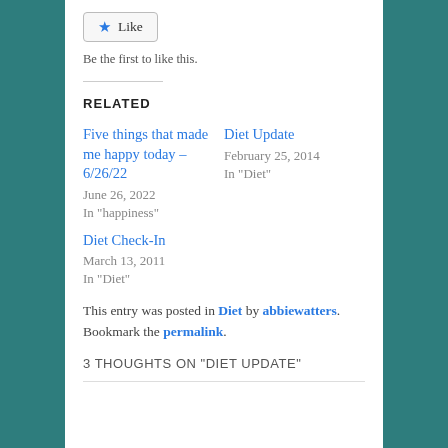[Figure (other): Like button with star icon]
Be the first to like this.
RELATED
Five things that made me happy today – 6/26/22
June 26, 2022
In "happiness"
Diet Update
February 25, 2014
In "Diet"
Diet Check-In
March 13, 2011
In "Diet"
This entry was posted in Diet by abbiewatters. Bookmark the permalink.
3 THOUGHTS ON "DIET UPDATE"